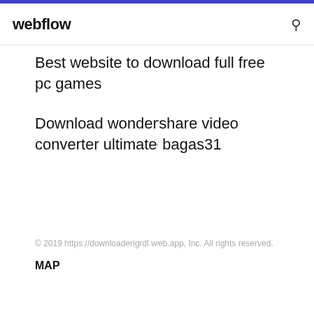webflow
Best website to download full free pc games
Download wondershare video converter ultimate bagas31
© 2019 https://downloaderigrdl.web.app, Inc. All rights reserved.
MAP